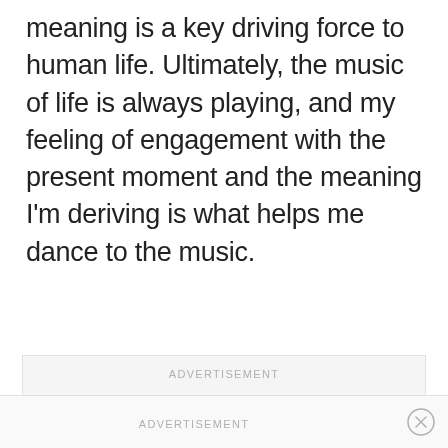meaning is a key driving force to human life. Ultimately, the music of life is always playing, and my feeling of engagement with the present moment and the meaning I'm deriving is what helps me dance to the music.
[Figure (other): Advertisement placeholder box with light grey background and the label ADVERTISEMENT centered at the top]
[Figure (other): Bottom advertisement bar with ADVERTISEMENT label and a circular close (X) button on the right]